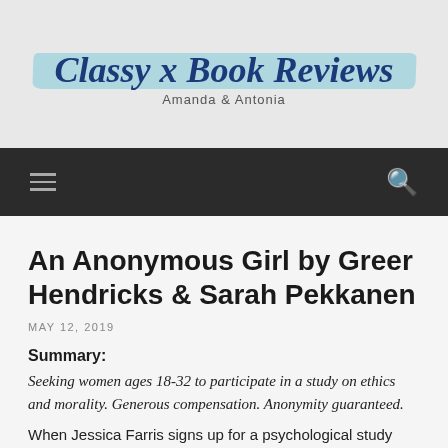Classy x Book Reviews
Amanda & Antonia
[Figure (logo): Navigation bar with hamburger menu icon on the left and search icon on the right, dark background]
An Anonymous Girl by Greer Hendricks & Sarah Pekkanen
MAY 12, 2019
Summary:
Seeking women ages 18-32 to participate in a study on ethics and morality. Generous compensation. Anonymity guaranteed.
When Jessica Farris signs up for a psychological study conducted by the mysterious Dr. Shields, she thinks all